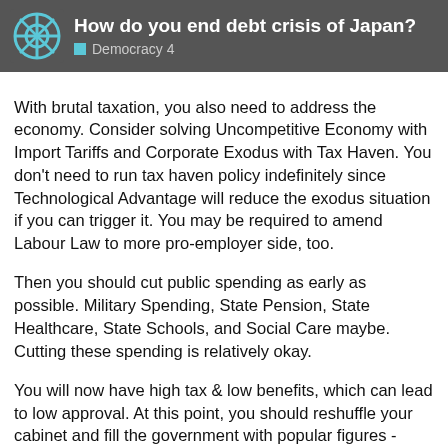How do you end debt crisis of Japan? Democracy 4
With brutal taxation, you also need to address the economy. Consider solving Uncompetitive Economy with Import Tariffs and Corporate Exodus with Tax Haven. You don't need to run tax haven policy indefinitely since Technological Advantage will reduce the exodus situation if you can trigger it. You may be required to amend Labour Law to more pro-employer side, too.
Then you should cut public spending as early as possible. Military Spending, State Pension, State Healthcare, State Schools, and Social Care maybe. Cutting these spending is relatively okay.
You will now have high tax & low benefits, which can lead to low approval. At this point, you should reshuffle your cabinet and fill the government with popular figures - candidates with high campaigning stat. This will greatly help you win votes with minimal costs. Just try to have Tax & Economy ministers with relatively high effectiveness. Since the first election is t
6 / 9